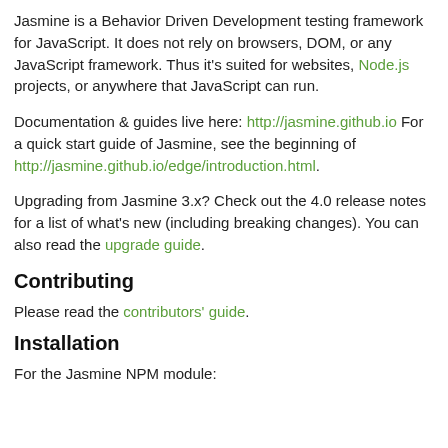Jasmine is a Behavior Driven Development testing framework for JavaScript. It does not rely on browsers, DOM, or any JavaScript framework. Thus it's suited for websites, Node.js projects, or anywhere that JavaScript can run.
Documentation & guides live here: http://jasmine.github.io For a quick start guide of Jasmine, see the beginning of http://jasmine.github.io/edge/introduction.html.
Upgrading from Jasmine 3.x? Check out the 4.0 release notes for a list of what's new (including breaking changes). You can also read the upgrade guide.
Contributing
Please read the contributors' guide.
Installation
For the Jasmine NPM module: